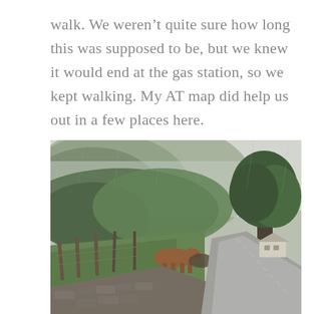walk. We weren't quite sure how long this was supposed to be, but we knew it would end at the gas station, so we kept walking. My AT map did help us out in a few places here.
[Figure (photo): A rainy rural scene showing a narrow country road winding to the right, with a stone wall in the foreground, wooden fence posts and cattle grazing in a green field to the left, dense forested hills shrouded in mist in the background, and a large tree on the right side. A small building is visible in the distance.]